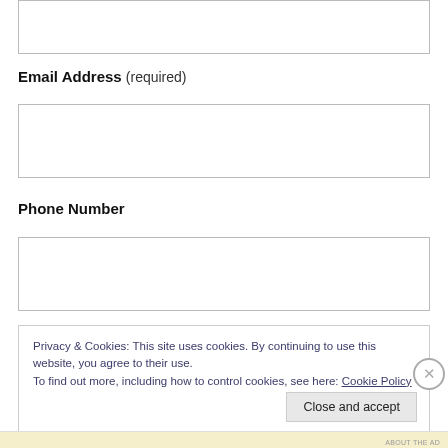Email Address (required)
Phone Number
Privacy & Cookies: This site uses cookies. By continuing to use this website, you agree to their use.
To find out more, including how to control cookies, see here: Cookie Policy
Close and accept